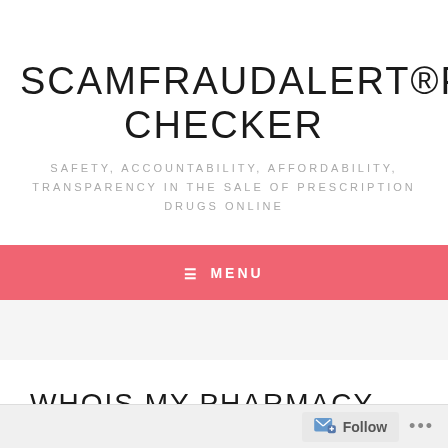SCAMFRAUDALERT®PHARMA CHECKER
SAFETY, ACCOUNTABILITY, AFFORDABILITY, TRANSPARENCY IN THE SALE OF PRESCRIPTION DRUGS ONLINE
≡  MENU
WHOIS MY-PHARMACY-SHOP.COM
Follow ...